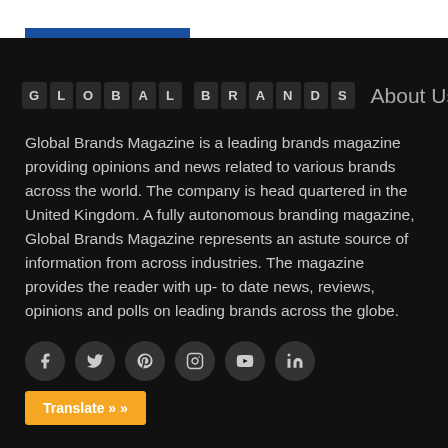[Figure (logo): Global Brands logo made of individual letter tiles in dark boxes spelling GLOBAL BRANDS]
About Us
Global Brands Magazine is a leading brands magazine providing opinions and news related to various brands across the world. The company is head quartered in the United Kingdom. A fully autonomous branding magazine, Global Brands Magazine represents an astute source of information from across industries. The magazine provides the reader with up- to date news, reviews, opinions and polls on leading brands across the globe.
[Figure (infographic): Row of social media icons: Facebook, Twitter, Pinterest, Instagram, YouTube, LinkedIn — circular dark buttons]
Translate »